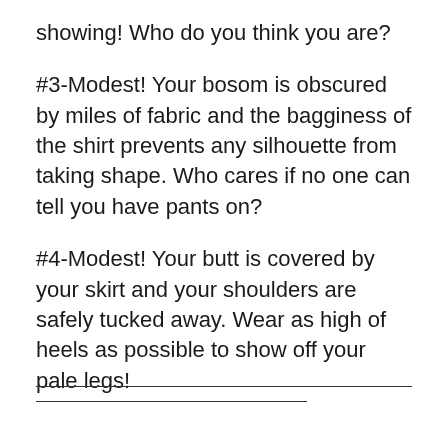showing! Who do you think you are?
#3-Modest! Your bosom is obscured by miles of fabric and the bagginess of the shirt prevents any silhouette from taking shape. Who cares if no one can tell you have pants on?
#4-Modest! Your butt is covered by your skirt and your shoulders are safely tucked away. Wear as high of heels as possible to show off your pale legs!